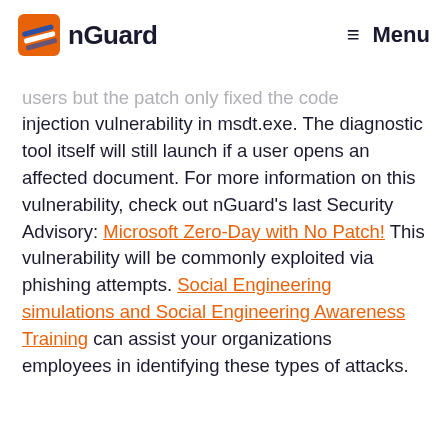nGuard  Menu
users but the patch only fixed the code injection vulnerability in msdt.exe. The diagnostic tool itself will still launch if a user opens an affected document. For more information on this vulnerability, check out nGuard's last Security Advisory: Microsoft Zero-Day with No Patch! This vulnerability will be commonly exploited via phishing attempts. Social Engineering simulations and Social Engineering Awareness Training can assist your organizations employees in identifying these types of attacks.